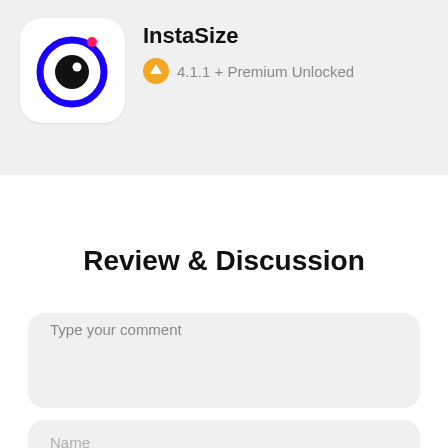[Figure (logo): InstaSize app icon: white rounded square with blue circle ring and black eye/circle inside, with a pink/red dot at top]
InstaSize
4.1.1 + Premium Unlocked
Review & Discussion
Type your comment
Name